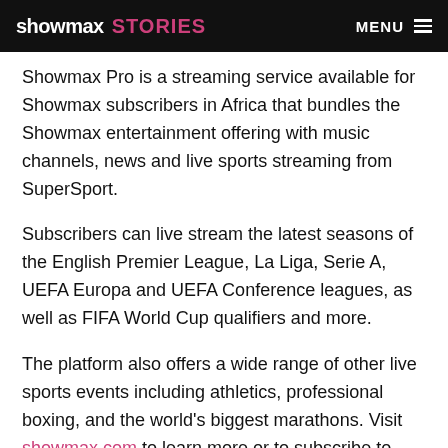showmax STORIES   MENU
Showmax Pro is a streaming service available for Showmax subscribers in Africa that bundles the Showmax entertainment offering with music channels, news and live sports streaming from SuperSport.
Subscribers can live stream the latest seasons of the English Premier League, La Liga, Serie A, UEFA Europa and UEFA Conference leagues, as well as FIFA World Cup qualifiers and more.
The platform also offers a wide range of other live sports events including athletics, professional boxing, and the world's biggest marathons. Visit showmax.com to learn more or to subscribe to